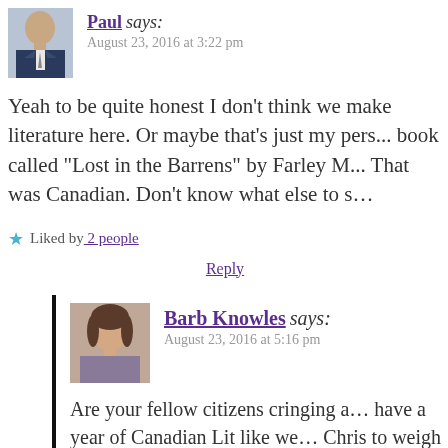Paul says:
August 23, 2016 at 3:22 pm
Yeah to be quite honest I don't think we make literature here. Or maybe that's just my pers... book called “Lost in the Barrens” by Farley M... That was Canadian. Don’t know what else to s...
Liked by 2 people
Reply
Barb Knowles says:
August 23, 2016 at 5:16 pm
Are your fellow citizens cringing a... have a year of Canadian Lit like we... Chris to weigh in, lol.
Liked by 3 people